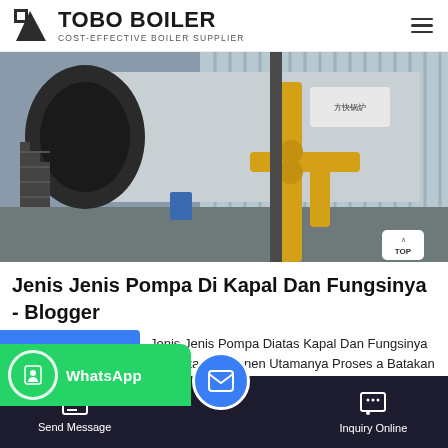TOBO BOILER - COST-EFFECTIVE BOILER SUPPLIER
[Figure (photo): Industrial boiler equipment photograph showing large black cylindrical boiler with yellow piping and corrugated metal cladding in a factory setting]
Jenis Jenis Pompa Di Kapal Dan Fungsinya - Blogger
Jenis Jenis Pompa Diatas Kapal Dan Fungsinya ler Serta Komponen Utamanya Proses a Bata gamb
Send Message | Inquiry Online